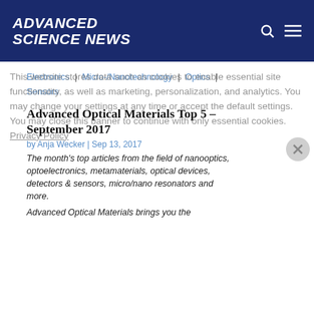ADVANCED SCIENCE NEWS
Electronics | Micro-/Nanotechnology | Optics | Sensors
Advanced Optical Materials Top 5 – September 2017
by Anja Wecker | Sep 13, 2017
This website stores data such as cookies to enable essential site functionality, as well as marketing, personalization, and analytics. You may change your settings at any time or accept the default settings. You may close this banner to continue with only essential cookies. Privacy Policy
Manage Preferences
Accept All
Reject All
The month's top articles from the field of nanooptics, optoelectronics, metamaterials, optical devices, detectors & sensors, micro/nano resonators and more.
Advanced Optical Materials brings you the